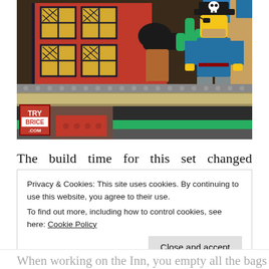[Figure (photo): A close-up photograph of a LEGO pirate-themed set. The scene shows a red building facade with yellow lattice windows, a black cannon, a LEGO pirate minifigure wearing a black hat with skull-and-crossbones and a blue coat, tan floor tiles, studs, a brown crate with red interior, and green/grey base sections. A red watermark logo is visible in the lower-left corner.]
The build time for this set changed markedly since
Privacy & Cookies: This site uses cookies. By continuing to use this website, you agree to their use.
To find out more, including how to control cookies, see here: Cookie Policy
Close and accept
When working on the Inn, you empty all the bags at